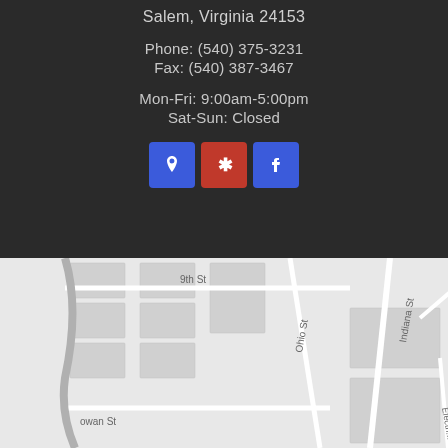Salem, Virginia 24153
Phone: (540) 375-3231
Fax: (540) 387-3467
Mon-Fri: 9:00am-5:00pm
Sat-Sun: Closed
[Figure (other): Three social media icon buttons: a blue map/location pin button, a red Yelp button, and a blue Facebook button]
[Figure (map): Street map showing Salem, Virginia area with streets including Indiana St, 9th St, Ohio St, Pearl St, na Ave, owan St, and Electric labeled]